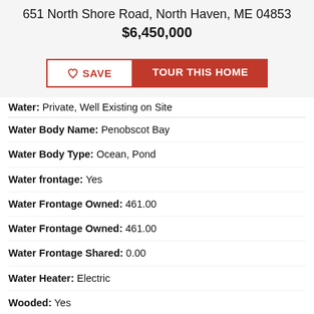651 North Shore Road, North Haven, ME 04853
$6,450,000
[Figure (other): SAVE and TOUR THIS HOME buttons]
Water: Private, Well Existing on Site
Water Body Name: Penobscot Bay
Water Body Type: Ocean, Pond
Water frontage: Yes
Water Frontage Owned: 461.00
Water Frontage Owned: 461.00
Water Frontage Shared: 0.00
Water Heater: Electric
Wooded: Yes
ROOM SIZES
[Figure (other): Live chat widget with agent photo, NEED HELP? CLICK TO LIVE CHAT]